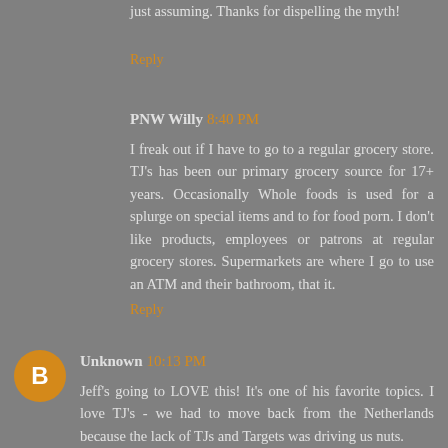just assuming. Thanks for dispelling the myth!
Reply
PNW Willy 8:40 PM
I freak out if I have to go to a regular grocery store. TJ's has been our primary grocery source for 17+ years. Occasionally Whole foods is used for a splurge on special items and to for food porn. I don't like products, employees or patrons at regular grocery stores. Supermarkets are where I go to use an ATM and their bathroom, that it.
Reply
Unknown 10:13 PM
Jeff's going to LOVE this! It's one of his favorite topics. I love TJ's - we had to move back from the Netherlands because the lack of TJs and Targets was driving us nuts.
Reply